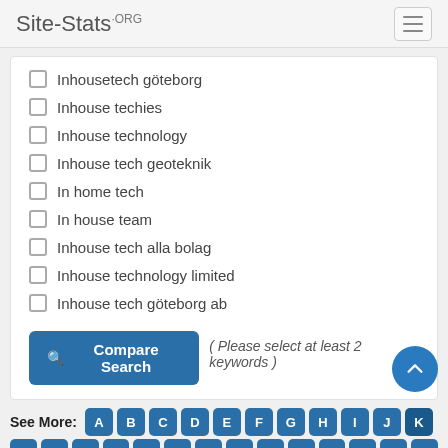Site-Stats.ORG
Inhousetech göteborg
Inhouse techies
Inhouse technology
Inhouse tech geoteknik
In home tech
In house team
Inhouse tech alla bolag
Inhouse technology limited
Inhouse tech göteborg ab
Compare Search ( Please select at least 2 keywords )
See More: A B C D E F G H I J K L M N O P Q R S T U V W X Y